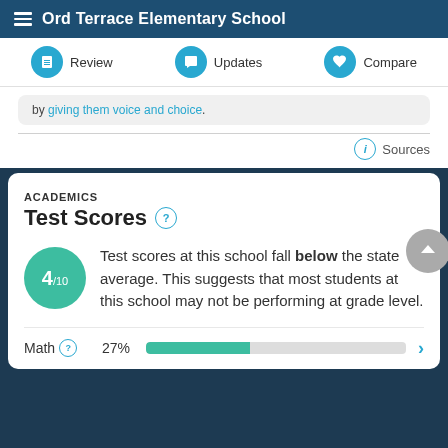Ord Terrace Elementary School
Review  Updates  Compare
by giving them voice and choice.
Sources
ACADEMICS
Test Scores
Test scores at this school fall below the state average. This suggests that most students at this school may not be performing at grade level.
Math  27%